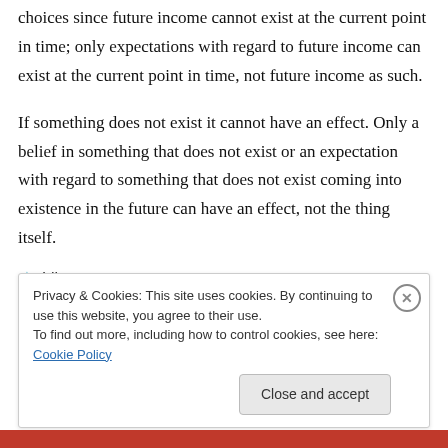choices since future income cannot exist at the current point in time; only expectations with regard to future income can exist at the current point in time, not future income as such.
If something does not exist it cannot have an effect. Only a belief in something that does not exist or an expectation with regard to something that does not exist coming into existence in the future can have an effect, not the thing itself.
★ Like
Privacy & Cookies: This site uses cookies. By continuing to use this website, you agree to their use.
To find out more, including how to control cookies, see here: Cookie Policy
Close and accept